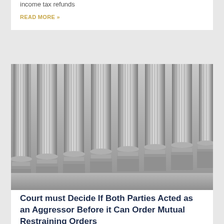income tax refunds
READ MORE »
[Figure (photo): Close-up photograph of a row of classical stone columns with fluted shafts and ornate bases, rendered in grayscale.]
Court must Decide If Both Parties Acted as an Aggressor Before it Can Order Mutual Restraining Orders